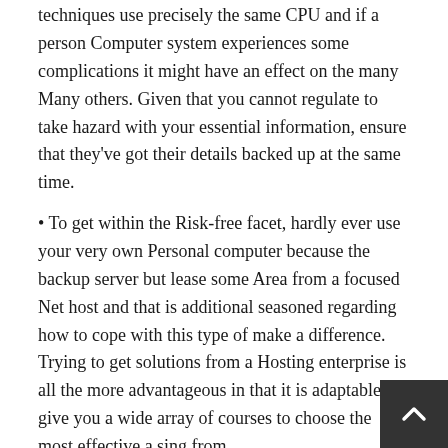techniques use precisely the same CPU and if a person Computer system experiences some complications it might have an effect on the many Many others. Given that you cannot regulate to take hazard with your essential information, ensure that they've got their details backed up at the same time.
• To get within the Risk-free facet, hardly ever use your very own Personal computer because the backup server but lease some Area from a focused Net host and that is additional seasoned regarding how to cope with this type of make a difference. Trying to get solutions from a Hosting enterprise is all the more advantageous in that it is adaptable to give you a wide array of courses to choose the most effective a sing from.